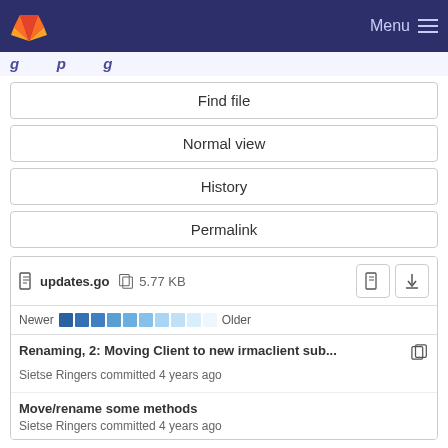GitLab navigation bar with Menu
g... p... g...
Find file
Normal view
History
Permalink
updates.go  5.77 KB
Newer  Older
Renaming, 2: Moving Client to new irmaclient sub...
Sietse Ringers committed 4 years ago
Move/rename some methods
Sietse Ringers committed 4 years ago